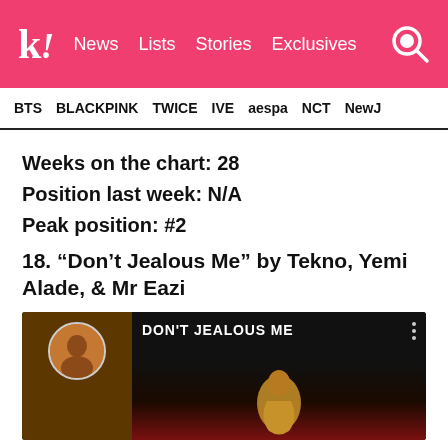k! News  Lists  Stories  Exclusives
BTS  BLACKPINK  TWICE  IVE  aespa  NCT  NewJ
Weeks on the chart: 28
Position last week: N/A
Peak position: #2
18. “Don’t Jealous Me” by Tekno, Yemi Alade, & Mr Eazi
[Figure (screenshot): YouTube video thumbnail for 'Don't Jealous Me' showing an avatar profile picture on the left, the title DON'T JEALOUS ME in white text, three-dot menu icon, and golden artistic figure sculpture on dark background]